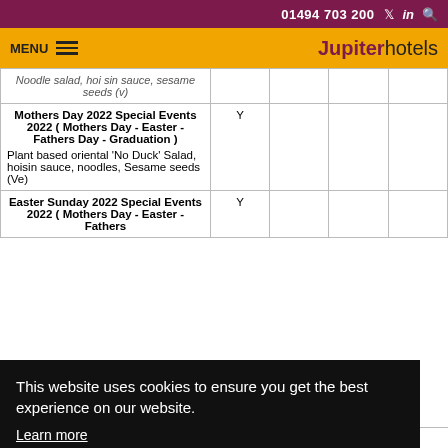01494 703 200 | Jupiter hotels | MENU
|  |  |  |  |  |
| --- | --- | --- | --- | --- |
| Noodle salad, hoi sin sauce, sesame seeds (v) |  |  |  |  |
| Mothers Day 2022 Special Events 2022 ( Mothers Day - Easter - Fathers Day - Graduation )
Plant based oriental 'No Duck' Salad, hoisin sauce, noodles, Sesame seeds (Ve) | Y |  |  |  |
| Easter Sunday 2022 Special Events 2022 ( Mothers Day - Easter - Fathers ... | Y |  |  |  |
| Slow cooked beef steak, red wine, baby ... |  |  |  |  |
This website uses cookies to ensure you get the best experience on our website. Learn more
Got it!